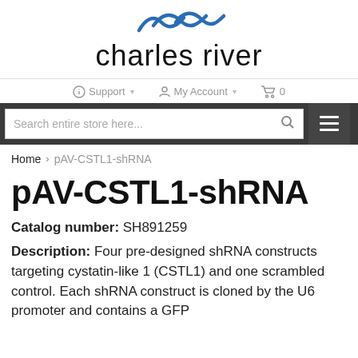[Figure (logo): Charles River Laboratories logo with blue wave graphic above the text 'charles river']
Support ▾   My Account ▾   🛒 0
[Figure (screenshot): Search bar reading 'Search entire store here...' with magnifying glass icon, followed by a hamburger menu button on dark background]
Home > pAV-CSTL1-shRNA
pAV-CSTL1-shRNA
Catalog number: SH891259
Description: Four pre-designed shRNA constructs targeting cystatin-like 1 (CSTL1) and one scrambled control. Each shRNA construct is cloned by the U6 promoter and contains a GFP